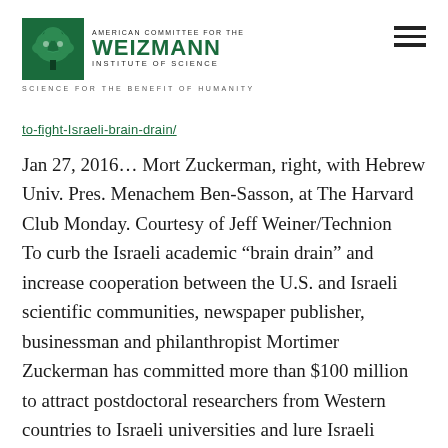[Figure (logo): American Committee for the Weizmann Institute of Science logo with green tree emblem, text 'AMERICAN COMMITTEE FOR THE WEIZMANN INSTITUTE OF SCIENCE' and tagline 'SCIENCE FOR THE BENEFIT OF HUMANITY']
to-fight-Israeli-brain-drain/
Jan 27, 2016... Mort Zuckerman, right, with Hebrew Univ. Pres. Menachem Ben-Sasson, at The Harvard Club Monday. Courtesy of Jeff Weiner/Technion
To curb the Israeli academic “brain drain” and increase cooperation between the U.S. and Israeli scientific communities, newspaper publisher, businessman and philanthropist Mortimer Zuckerman has committed more than $100 million to attract postdoctoral researchers from Western countries to Israeli universities and lure Israeli academics back.